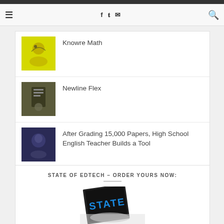≡  f  t  ✉  🔍
Knowre Math
Newline Flex
After Grading 15,000 Papers, High School English Teacher Builds a Tool
STATE OF EDTECH – ORDER YOURS NOW:
[Figure (photo): Book cover showing 'STATE' text on dark background with people]